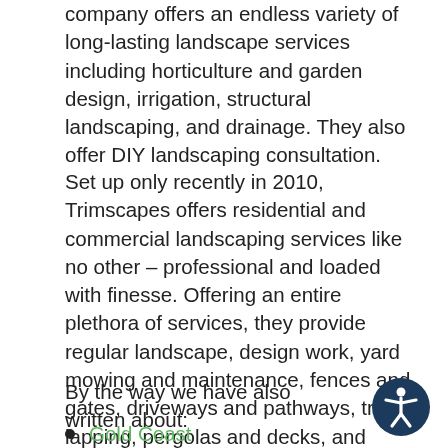company offers an endless variety of long-lasting landscape services including horticulture and garden design, irrigation, structural landscaping, and drainage. They also offer DIY landscaping consultation.
Set up only recently in 2010, Trimscapes offers residential and commercial landscaping services like no other – professional and loaded with finesse. Offering an entire plethora of services, they provide regular landscape, design work, yard mowing and maintenance, fences and gates, driveways and pathways, tree lapping, pergolas and decks, and retainer walls.
By the way we have also written about:
[Figure (illustration): Accessibility icon — dark navy circle with a white stick-figure person with arms outstretched, universal accessibility symbol]
Gold Coast